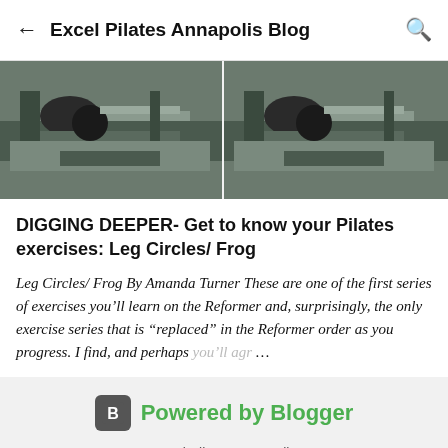Excel Pilates Annapolis Blog
[Figure (photo): Two side-by-side photos of a person lying on a Pilates Reformer machine performing leg exercises]
DIGGING DEEPER- Get to know your Pilates exercises: Leg Circles/ Frog
Leg Circles/ Frog By Amanda Turner These are one of the first series of exercises you'll learn on the Reformer and, surprisingly, the only exercise series that is “replaced” in the Reformer order as you progress. I find, and perhaps you'll agr…
Powered by Blogger
Excel Pilates Annapolis